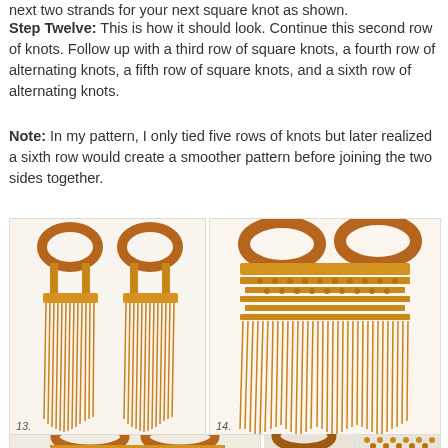next two strands for your next square knot as shown.
Step Twelve: This is how it should look. Continue this second row of knots. Follow up with a third row of square knots, a fourth row of alternating knots, a fifth row of square knots, and a sixth row of alternating knots.
Note: In my pattern, I only tied five rows of knots but later realized a sixth row would create a smoother pattern before joining the two sides together.
[Figure (photo): Two macramé bag panels with wooden oval handles and golden orange fringe strands hanging down, labeled 13]
[Figure (photo): Macramé bag with two wooden oval handles showing knotted pattern and fringe, labeled 14]
[Figure (photo): Macramé bag with two wooden oval handles, front view showing completed bag shape]
[Figure (photo): Macramé bag with wooden handles, side/alternate view]
[Figure (photo): Close-up of macramé knot pattern in golden orange cord]